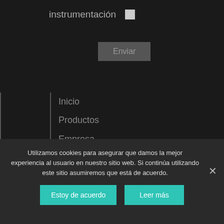instrumentación ☐
Enviar
Inicio
Productos
Empresa
Contacto
Descargas
Bolsa de trabajo
Utilizamos cookies para asegurar que damos la mejor experiencia al usuario en nuestro sitio web. Si continúa utilizando este sitio asumiremos que está de acuerdo.
Estoy de acuerdo
Leer más